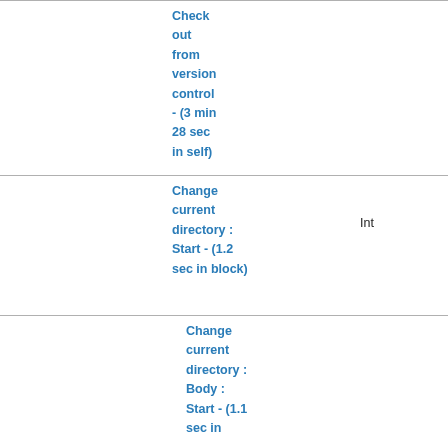Check out from version control - (3 min 28 sec in self)
Change current directory : Start - (1.2 sec in block)
Int
Change current directory : Body : Start - (1.1 sec in